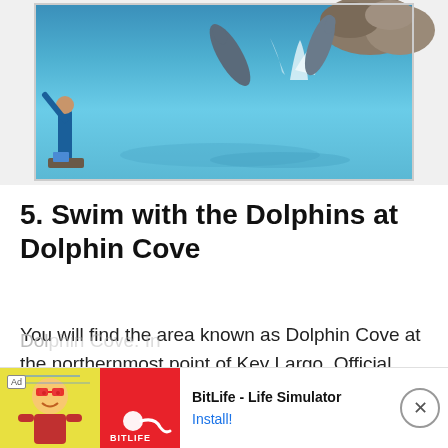[Figure (photo): A dolphin trainer in a blue wetsuit standing on a platform with arm raised, while two dolphins leap out of the blue-green water at Dolphin Cove. Rocky coastline visible in background.]
5. Swim with the Dolphins at Dolphin Cove
You will find the area known as Dolphin Cove at the northernmost point of Key Largo. Official, the lagoon is called
[Figure (other): Ad banner: BitLife - Life Simulator app advertisement with cartoon character, red BitLife logo block, app name and Install button]